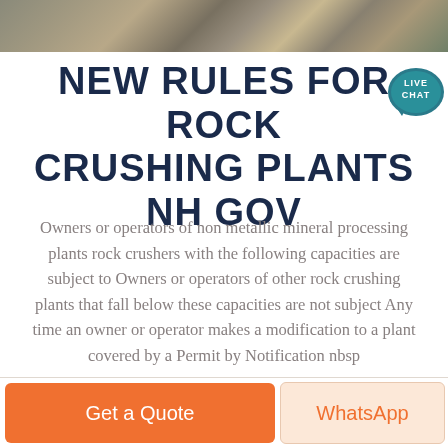[Figure (photo): Rock/stone texture photo strip at the top of the page]
NEW RULES FOR ROCK CRUSHING PLANTS NH GOV
[Figure (illustration): Live Chat speech bubble badge icon in teal/navy, top right corner]
Owners or operators of non metallic mineral processing plants rock crushers with the following capacities are subject to Owners or operators of other rock crushing plants that fall below these capacities are not subject Any time an owner or operator makes a modification to a plant covered by a Permit by Notification nbsp
Get a Quote | WhatsApp